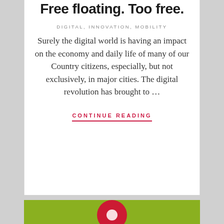Free floating. Too free.
DIGITAL, INNOVATION, MOBILITY
Surely the digital world is having an impact on the economy and daily life of many of our Country citizens, especially, but not exclusively, in major cities. The digital revolution has brought to …
CONTINUE READING
[Figure (logo): Green background section with a red circular logo at the bottom]